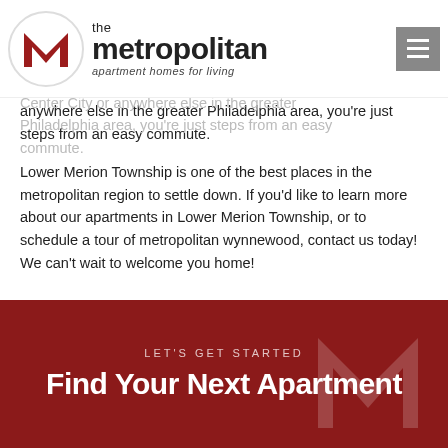[Figure (logo): The Metropolitan apartment homes for living logo with red M icon in circle and hamburger menu button]
near public transit. Our rental community is situated in a community close to public transportation near the North Train Station, Route 10 trams, and commutation along the Paoli-Thorndale Line. If you're headed into Center City or anywhere else in the greater Philadelphia area, you're just steps from an easy commute.
Lower Merion Township is one of the best places in the metropolitan region to settle down. If you'd like to learn more about our apartments in Lower Merion Township, or to schedule a tour of metropolitan wynnewood, contact us today! We can't wait to welcome you home!
LET'S GET STARTED
Find Your Next Apartment